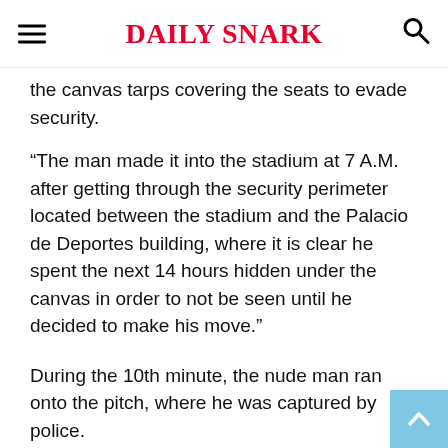Daily Snark
the canvas tarps covering the seats to evade security.
“The man made it into the stadium at 7 A.M. after getting through the security perimeter located between the stadium and the Palacio de Deportes building, where it is clear he spent the next 14 hours hidden under the canvas in order to not be seen until he decided to make his move.”
During the 10th minute, the nude man ran onto the pitch, where he was captured by police.
Social media had some fun with the image of the streaker that went viral postgame, noting the man’s resemblance to former NFL QB Colin Kaepernick, of course a more disheveled version.